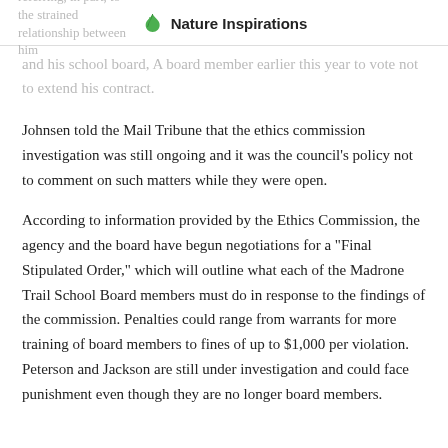Nature Inspirations
referring, in part, to the strained relationship between him and his school board, A board member earlier this year to vote not to extend his contract.
Johnsen told the Mail Tribune that the ethics commission investigation was still ongoing and it was the council’s policy not to comment on such matters while they were open.
According to information provided by the Ethics Commission, the agency and the board have begun negotiations for a “Final Stipulated Order,” which will outline what each of the Madrone Trail School Board members must do in response to the findings of the commission. Penalties could range from warrants for more training of board members to fines of up to $1,000 per violation. Peterson and Jackson are still under investigation and could face punishment even though they are no longer board members.